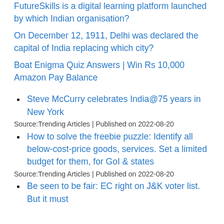FutureSkills is a digital learning platform launched by which Indian organisation?
On December 12, 1911, Delhi was declared the capital of India replacing which city?
Boat Enigma Quiz Answers | Win Rs 10,000 Amazon Pay Balance
Steve McCurry celebrates India@75 years in New York
Source:Trending Articles | Published on 2022-08-20
How to solve the freebie puzzle: Identify all below-cost-price goods, services. Set a limited budget for them, for GoI & states
Source:Trending Articles | Published on 2022-08-20
Be seen to be fair: EC right on J&K voter list. But it must